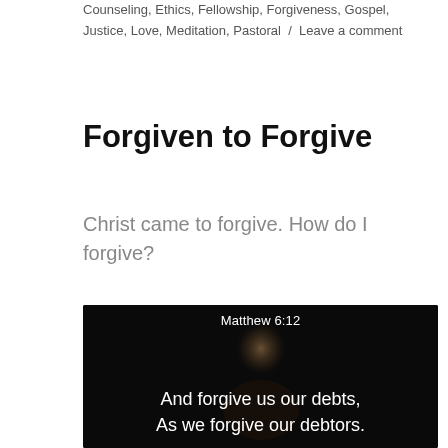Counseling, Ethics, Fellowship, Forgiveness, Gospel, Justice, Love, Meditation, Pastoral / Leave a comment
Forgiven to Forgive
Christ came to forgive. How do I forgive?
[Figure (photo): Dark background image showing a silhouetted person with text overlay: 'Matthew 6:12' at top and 'And forgive us our debts, As we forgive our debtors.' at the bottom in white text.]